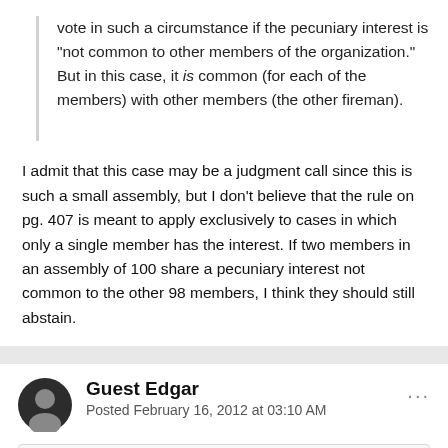vote in such a circumstance if the pecuniary interest is "not common to other members of the organization." But in this case, it is common (for each of the members) with other members (the other fireman).
I admit that this case may be a judgment call since this is such a small assembly, but I don't believe that the rule on pg. 407 is meant to apply exclusively to cases in which only a single member has the interest. If two members in an assembly of 100 share a pecuniary interest not common to the other 98 members, I think they should still abstain.
Guest Edgar
Posted February 16, 2012 at 03:10 AM
On 2/16/2012 at 3:03 AM, Josh Martin said:
. . . I don't believe that the rule on pg. 407 is meant to apply